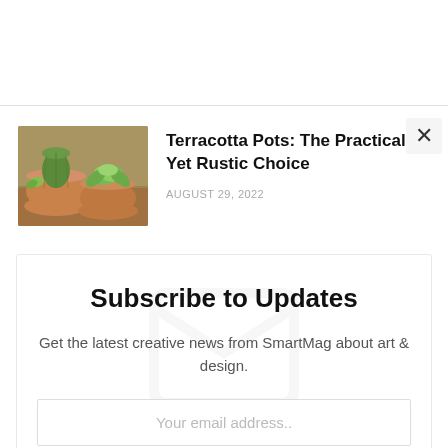[Figure (photo): Terracotta pots with cacti and succulents on a wooden surface]
Terracotta Pots: The Practical Yet Rustic Choice
AUGUST 29, 2022
Subscribe to Updates
Get the latest creative news from SmartMag about art & design.
Your email address..